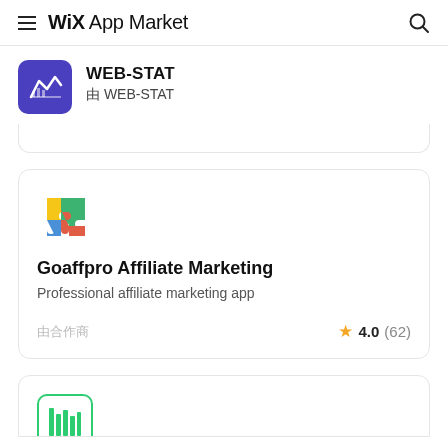WiX App Market
WEB-STAT
由 WEB-STAT
Goaffpro Affiliate Marketing
Professional affiliate marketing app
由合作商 4.0 (62)